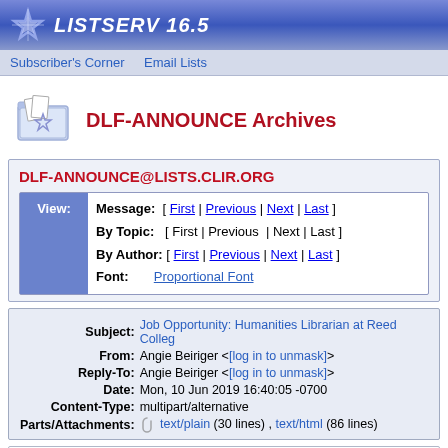LISTSERV 16.5
Subscriber's Corner   Email Lists
DLF-ANNOUNCE Archives
DLF-ANNOUNCE@LISTS.CLIR.ORG
|  | Field | Links |
| --- | --- | --- |
| View: | Message: | [ First | Previous | Next | Last ] |
|  | By Topic: | [ First | Previous | Next | Last ] |
|  | By Author: | [ First | Previous | Next | Last ] |
|  | Font: | Proportional Font |
| Field | Value |
| --- | --- |
| Subject: | Job Opportunity: Humanities Librarian at Reed College |
| From: | Angie Beiriger <[log in to unmask]> |
| Reply-To: | Angie Beiriger <[log in to unmask]> |
| Date: | Mon, 10 Jun 2019 16:40:05 -0700 |
| Content-Type: | multipart/alternative |
| Parts/Attachments: | text/plain (30 lines) , text/html (86 lines) |
Reed College seeks an innovative, forward-thinking, and s